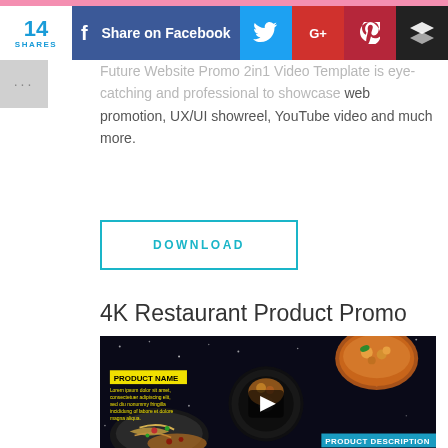[Figure (infographic): Social share bar with 14 shares count, Facebook Share button (blue), Twitter bird icon (light blue), Google+ icon (red), Pinterest icon (dark red), Layers/Buffer icon (black)]
Future Website Promo 2in1 Video Template is eye-catching and professional to showcase web promotion, UX/UI showreel, YouTube video and much more.
[Figure (other): DOWNLOAD button with teal border]
4K Restaurant Product Promo
[Figure (screenshot): Video thumbnail showing restaurant food promo with dark space background, food dishes, PRODUCT NAME label in yellow, Lorem ipsum text, play button in center, PRODUCT DESCRIPTION label at bottom right]